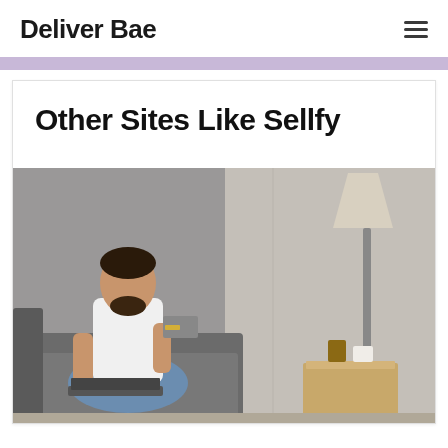Deliver Bae
Other Sites Like Sellfy
[Figure (photo): A man sitting cross-legged on a couch holding a credit card and using a laptop. There is a side table with two candles and a floor lamp in the background on the right side.]